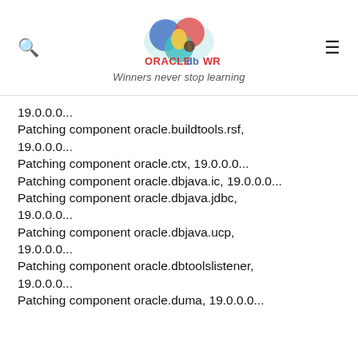ORACLE db WR — Winners never stop learning
19.0.0.0...
Patching component oracle.buildtools.rsf, 19.0.0.0...
Patching component oracle.ctx, 19.0.0.0...
Patching component oracle.dbjava.ic, 19.0.0.0...
Patching component oracle.dbjava.jdbc, 19.0.0.0...
Patching component oracle.dbjava.ucp, 19.0.0.0...
Patching component oracle.dbtoolslistener, 19.0.0.0...
Patching component oracle.duma, 19.0.0.0...